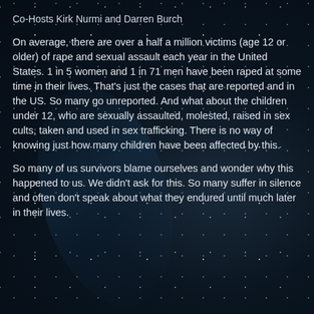Co-Hosts Kirk Nurmi and Darren Burch
On average, there are over a half a million victims (age 12 or older) of rape and sexual assault each year in the United States. 1 in 5 women and 1 in 71 men have been raped at some time in their lives. That's just the cases that are reported and in the US. So many go unreported. And what about the children under 12, who are sexually assaulted, molested, raised in sex cults, taken and used in sex trafficking. There is no way of knowing just how many children have been affected by this.
So many of us survivors blame ourselves and wonder why this happened to us. We didn't ask for this. So many suffer in silence and often don't speak about what they endured until much later in their lives.